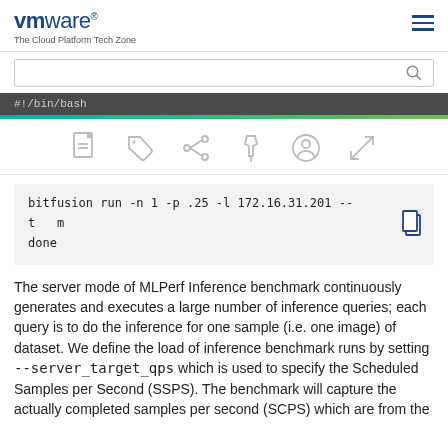vmware The Cloud Platform Tech Zone
#!/bin/bash
[Figure (screenshot): Row of action icons: PDF/document, tag, share, pin, user/profile, expand]
bitfusion run -n 1 -p .25 -l 172.16.31.201 -- t… m
done
The server mode of MLPerf Inference benchmark continuously generates and executes a large number of inference queries; each query is to do the inference for one sample (i.e. one image) of dataset. We define the load of inference benchmark runs by setting --server_target_qps which is used to specify the Scheduled Samples per Second (SSPS). The benchmark will capture the actually completed samples per second (SCPS) which are from the